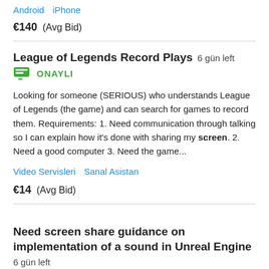Android   iPhone
€140  (Avg Bid)
League of Legends Record Plays  6 gün left
ONAYLI
Looking for someone (SERIOUS) who understands League of Legends (the game) and can search for games to record them. Requirements: 1. Need communication through talking so I can explain how it's done with sharing my screen. 2. Need a good computer 3. Need the game...
Video Servisleri   Sanal Asistan
€14  (Avg Bid)
Need screen share guidance on implementation of a sound in Unreal Engine  6 gün left